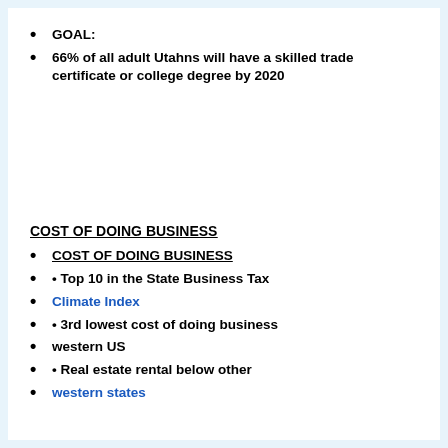GOAL:
66% of all adult Utahns will have a skilled trade certificate or college degree by 2020
COST OF DOING BUSINESS
COST OF DOING BUSINESS
• Top 10 in the State Business Tax
Climate Index
• 3rd lowest cost of doing business
western US
• Real estate rental below other
western states